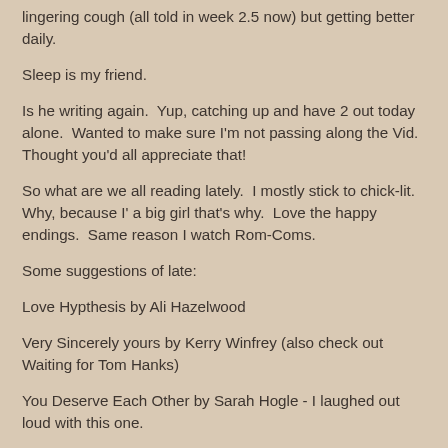lingering cough (all told in week 2.5 now) but getting better daily.
Sleep is my friend.
Is he writing again.  Yup, catching up and have 2 out today alone.  Wanted to make sure I'm not passing along the Vid.  Thought you'd all appreciate that!
So what are we all reading lately.  I mostly stick to chick-lit.  Why, because I' a big girl that's why.  Love the happy endings.  Same reason I watch Rom-Coms.
Some suggestions of late:
Love Hypthesis by Ali Hazelwood
Very Sincerely yours by Kerry Winfrey (also check out Waiting for Tom Hanks)
You Deserve Each Other by Sarah Hogle - I laughed out loud with this one.
Party Crasher - Sophie Kinsella (couldn't get into this one -